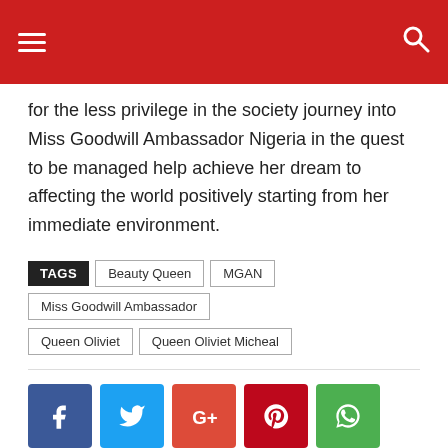Navigation header bar with hamburger menu and search icon
for the less privilege in the society journey into Miss Goodwill Ambassador Nigeria in the quest to be managed help achieve her dream to affecting the world positively starting from her immediate environment.
TAGS: Beauty Queen | MGAN | Miss Goodwill Ambassador | Queen Oliviet | Queen Oliviet Micheal
[Figure (other): Social sharing buttons: Facebook (blue), Twitter (light blue), Google Plus (red-orange), Pinterest (dark red), WhatsApp (green)]
Previous article    Next article